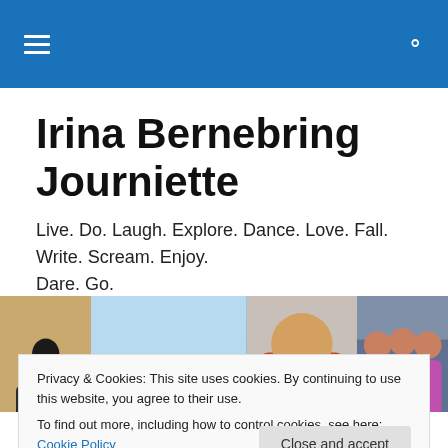[Navigation bar with hamburger menu and search icon]
Irina Bernebring Journiette
Live. Do. Laugh. Explore. Dance. Love. Fall. Write. Scream. Enjoy. Dare. Go.
[Figure (photo): A horizontal photo strip showing four travel images: a person walking on sand dunes, a fisherman on a boat in a lake (Inle Lake style), a Buddhist monk smiling, and three women in traditional colorful clothing.]
Privacy & Cookies: This site uses cookies. By continuing to use this website, you agree to their use.
To find out more, including how to control cookies, see here: Cookie Policy
Since the Bangkok Shutdown began a week ago there